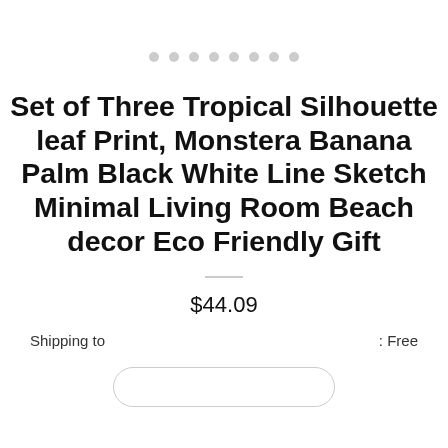[Figure (other): Row of 8 gray circular dots used as an image carousel indicator]
Set of Three Tropical Silhouette leaf Print, Monstera Banana Palm Black White Line Sketch Minimal Living Room Beach decor Eco Friendly Gift
$44.09
Shipping to : Free